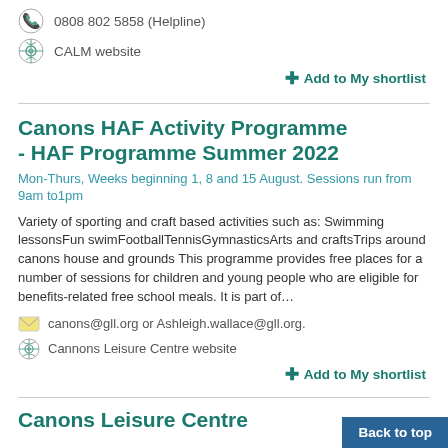0808 802 5858 (Helpline)
CALM website
+ Add to My shortlist
Canons HAF Activity Programme - HAF Programme Summer 2022
Mon-Thurs, Weeks beginning 1, 8 and 15 August. Sessions run from 9am to1pm
Variety of sporting and craft based activities such as: Swimming lessonsFun swimFootballTennisGymnasticsArts and craftsTrips around canons house and grounds This programme provides free places for a number of sessions for children and young people who are eligible for benefits-related free school meals. It is part of…
canons@gll.org or Ashleigh.wallace@gll.org.
Cannons Leisure Centre website
+ Add to My shortlist
Canons Leisure Centre